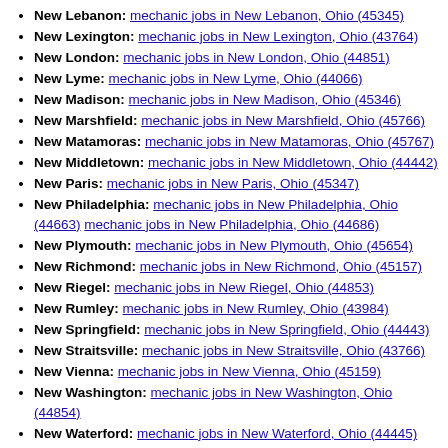New Lebanon: mechanic jobs in New Lebanon, Ohio (45345)
New Lexington: mechanic jobs in New Lexington, Ohio (43764)
New London: mechanic jobs in New London, Ohio (44851)
New Lyme: mechanic jobs in New Lyme, Ohio (44066)
New Madison: mechanic jobs in New Madison, Ohio (45346)
New Marshfield: mechanic jobs in New Marshfield, Ohio (45766)
New Matamoras: mechanic jobs in New Matamoras, Ohio (45767)
New Middletown: mechanic jobs in New Middletown, Ohio (44442)
New Paris: mechanic jobs in New Paris, Ohio (45347)
New Philadelphia: mechanic jobs in New Philadelphia, Ohio (44663) mechanic jobs in New Philadelphia, Ohio (44686)
New Plymouth: mechanic jobs in New Plymouth, Ohio (45654)
New Richmond: mechanic jobs in New Richmond, Ohio (45157)
New Riegel: mechanic jobs in New Riegel, Ohio (44853)
New Rumley: mechanic jobs in New Rumley, Ohio (43984)
New Springfield: mechanic jobs in New Springfield, Ohio (44443)
New Straitsville: mechanic jobs in New Straitsville, Ohio (43766)
New Vienna: mechanic jobs in New Vienna, Ohio (45159)
New Washington: mechanic jobs in New Washington, Ohio (44854)
New Waterford: mechanic jobs in New Waterford, Ohio (44445)
New Weston: mechanic jobs in New Weston, Ohio (45348)
Newark: mechanic jobs in Newark, Ohio (43055) mechanic jobs in Newark, Ohio (43057) mechanic jobs in Newark, Ohio (43093)
Newbury: mechanic jobs in Newbury, Ohio (44065)
Newcomerstown: mechanic jobs in Newcomerstown, Ohio (43832)